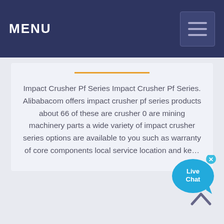MENU
Impact Crusher Pf Series Impact Crusher Pf Series. Alibabacom offers impact crusher pf series products about 66 of these are crusher 0 are mining machinery parts a wide variety of impact crusher series options are available to you such as warranty of core components local service location and ke…
[Figure (other): Live Chat bubble widget with close button and speech bubble tail]